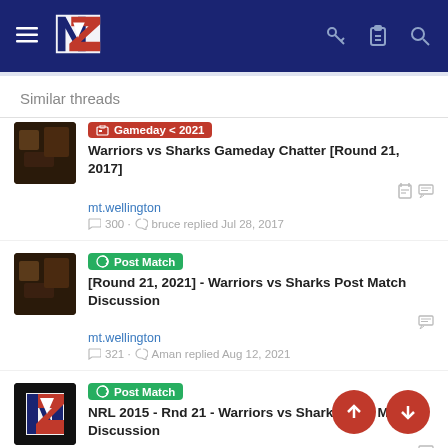NZ Warriors forum navigation bar
Similar threads
Gameday < 2021 Warriors vs Sharks Gameday Chatter [Round 21, 2017] — mt.wellington — 300 replies — bruce replied Jul 28, 2017
Post Match [Round 21, 2021] - Warriors vs Sharks Post Match Discussion — mt.wellington — 321 replies — Aman replied Aug 12, 2021
Post Match NRL 2015 - Rnd 21 - Warriors vs Sharks Post Match Discussion — NZWarriors.com — 168 replies — mt.wellington replied Aug 6, 2015